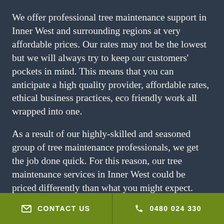We offer professional tree maintenance support in Inner West and surrounding regions at very affordable prices. Our rates may not be the lowest but we will always try to keep our customers' pockets in mind. This means that you can anticipate a high quality provider, affordable rates, ethical business practices, eco friendly work all wrapped into one.
As a result of our highly-skilled and seasoned group of tree maintenance professionals, we get the job done quick. For this reason, our tree maintenance services in Inner West could be priced differently than what you might expect.
Call us now on 0480 024 330 or visit our site to get additional information on our tree care
✉ CONTACT US   ✆ 0480 024 330